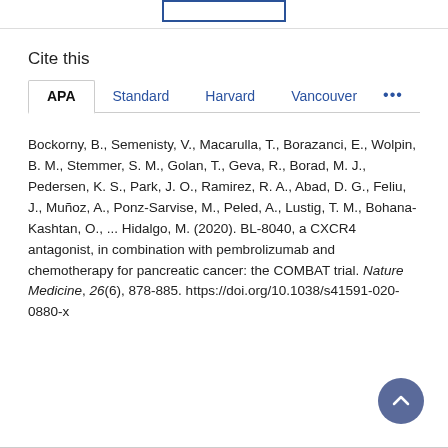Cite this
APA  Standard  Harvard  Vancouver  •••
Bockorny, B., Semenisty, V., Macarulla, T., Borazanci, E., Wolpin, B. M., Stemmer, S. M., Golan, T., Geva, R., Borad, M. J., Pedersen, K. S., Park, J. O., Ramirez, R. A., Abad, D. G., Feliu, J., Muñoz, A., Ponz-Sarvise, M., Peled, A., Lustig, T. M., Bohana-Kashtan, O., ... Hidalgo, M. (2020). BL-8040, a CXCR4 antagonist, in combination with pembrolizumab and chemotherapy for pancreatic cancer: the COMBAT trial. Nature Medicine, 26(6), 878-885. https://doi.org/10.1038/s41591-020-0880-x